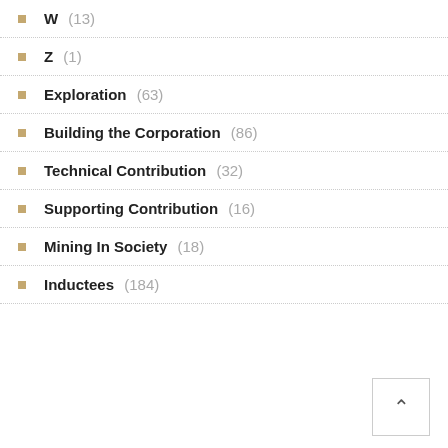W (13)
Z (1)
Exploration (63)
Building the Corporation (86)
Technical Contribution (32)
Supporting Contribution (16)
Mining In Society (18)
Inductees (184)